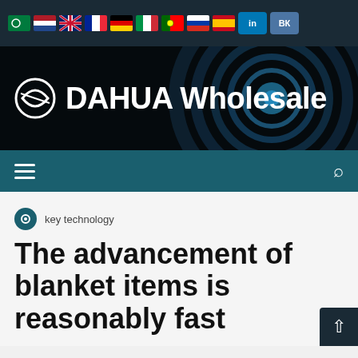[Figure (screenshot): Top navigation bar with country flag icons and social media buttons (LinkedIn, VK) on dark background]
[Figure (logo): DAHUA Wholesale logo banner with camera lens radial graphic on black background, white bold text]
[Figure (screenshot): Navigation bar with hamburger menu icon on left and search icon on right, teal background]
key technology
The advancement of blanket items is reasonably fast